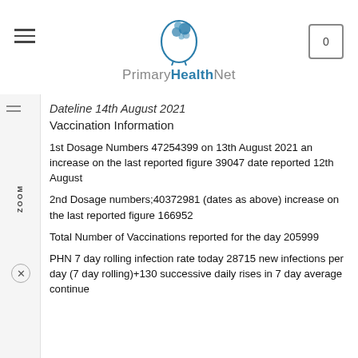PrimaryHealthNet
Dateline 14th August 2021
Vaccination Information
1st Dosage Numbers 47254399 on 13th August 2021 an increase on the last reported figure 39047 date reported 12th August
2nd Dosage numbers;40372981 (dates as above) increase on the last reported figure 166952
Total Number of Vaccinations reported for the day 205999
PHN 7 day rolling infection rate today 28715 new infections per day (7 day rolling)+130 successive daily rises in 7 day average continue